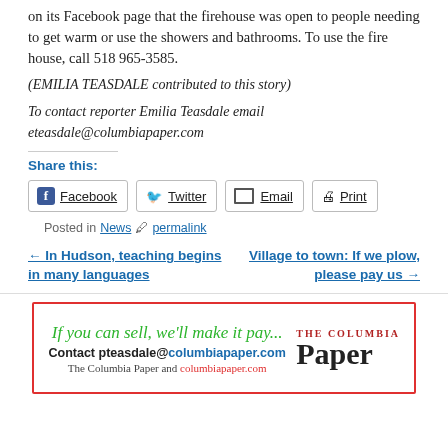on its Facebook page that the firehouse was open to people needing to get warm or use the showers and bathrooms. To use the fire house, call 518 965-3585.
(EMILIA TEASDALE contributed to this story)
To contact reporter Emilia Teasdale email eteasdale@columbiapaper.com
Share this:
Facebook | Twitter | Email | Print
Posted in News   permalink
← In Hudson, teaching begins in many languages
Village to town: If we plow, please pay us →
[Figure (infographic): Advertisement for The Columbia Paper with red border. Left side: green italic text 'If you can sell, we'll make it pay...' with contact info 'Contact pteasdale@columbiapaper.com' and 'The Columbia Paper and columbiapaper.com'. Right side: The Columbia Paper logo in dark red serif text.]